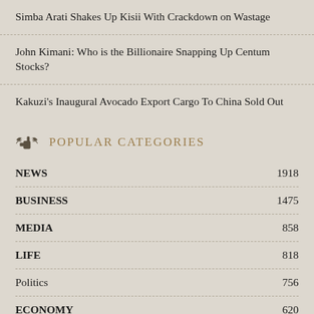Simba Arati Shakes Up Kisii With Crackdown on Wastage
John Kimani: Who is the Billionaire Snapping Up Centum Stocks?
Kakuzi's Inaugural Avocado Export Cargo To China Sold Out
POPULAR CATEGORIES
| Category | Count |
| --- | --- |
| NEWS | 1918 |
| BUSINESS | 1475 |
| MEDIA | 858 |
| LIFE | 818 |
| Politics | 756 |
| ECONOMY | 620 |